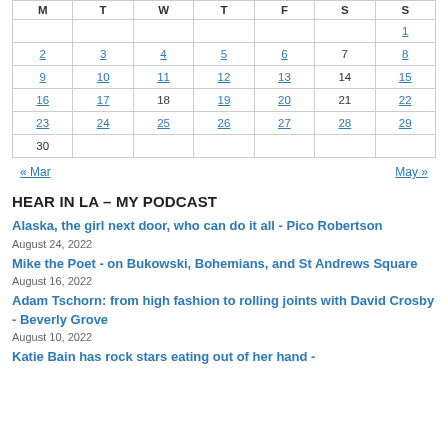| M | T | W | T | F | S | S |
| --- | --- | --- | --- | --- | --- | --- |
|  |  |  |  |  |  | 1 |
| 2 | 3 | 4 | 5 | 6 | 7 | 8 |
| 9 | 10 | 11 | 12 | 13 | 14 | 15 |
| 16 | 17 | 18 | 19 | 20 | 21 | 22 |
| 23 | 24 | 25 | 26 | 27 | 28 | 29 |
| 30 |  |  |  |  |  |  |
« Mar   May »
HEAR IN LA – MY PODCAST
Alaska, the girl next door, who can do it all - Pico Robertson
August 24, 2022
Mike the Poet - on Bukowski, Bohemians, and St Andrews Square
August 16, 2022
Adam Tschorn: from high fashion to rolling joints with David Crosby - Beverly Grove
August 10, 2022
Katie Bain has rock stars eating out of her hand -